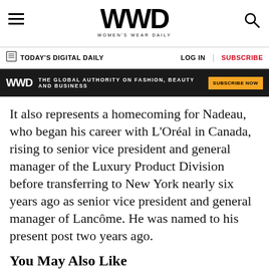WWD — WOMEN'S WEAR DAILY
TODAY'S DIGITAL DAILY | LOG IN | SUBSCRIBE
[Figure (other): WWD ad banner — THE GLOBAL AUTHORITY ON FASHION, BEAUTY AND BUSINESS — SUBSCRIBE NOW]
It also represents a homecoming for Nadeau, who began his career with L'Oréal in Canada, rising to senior vice president and general manager of the Luxury Product Division before transferring to New York nearly six years ago as senior vice president and general manager of Lancôme. He was named to his present post two years ago.
You May Also Like
[Figure (photo): Partial image strip below 'You May Also Like' heading]
[Figure (other): WWD Wellness Forum advertisement — Mind. Body. Business. — WELLNESS FORUM — BUY TICKETS]